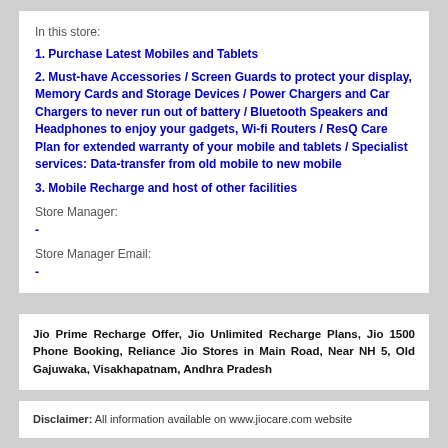In this store:
1. Purchase Latest Mobiles and Tablets
2. Must-have Accessories / Screen Guards to protect your display, Memory Cards and Storage Devices / Power Chargers and Car Chargers to never run out of battery / Bluetooth Speakers and Headphones to enjoy your gadgets, Wi-fi Routers / ResQ Care Plan for extended warranty of your mobile and tablets / Specialist services: Data-transfer from old mobile to new mobile
3. Mobile Recharge and host of other facilities
Store Manager:
-
Store Manager Email:
-
Jio Prime Recharge Offer, Jio Unlimited Recharge Plans, Jio 1500 Phone Booking, Reliance Jio Stores in Main Road, Near NH 5, Old Gajuwaka, Visakhapatnam, Andhra Pradesh
Disclaimer: All information available on www.jiocare.com website